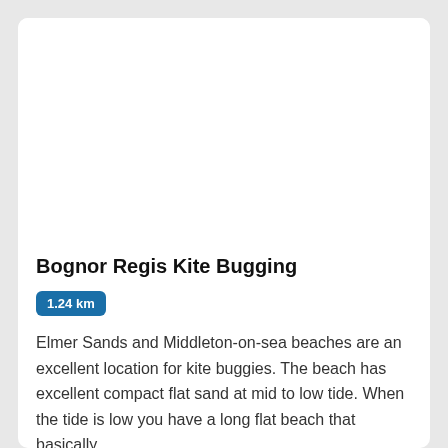[Figure (photo): Image placeholder area for Bognor Regis Kite Bugging (white/blank area)]
Bognor Regis Kite Bugging
1.24 km
Elmer Sands and Middleton-on-sea beaches are an excellent location for kite buggies. The beach has excellent compact flat sand at mid to low tide. When the tide is low you have a long flat beach that basically
Read more